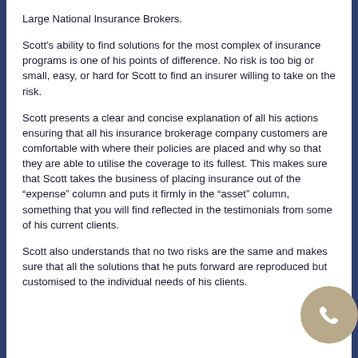Large National Insurance Brokers.
Scott’s ability to find solutions for the most complex of insurance programs is one of his points of difference. No risk is too big or small, easy, or hard for Scott to find an insurer willing to take on the risk.
Scott presents a clear and concise explanation of all his actions ensuring that all his insurance brokerage company customers are comfortable with where their policies are placed and why so that they are able to utilise the coverage to its fullest. This makes sure that Scott takes the business of placing insurance out of the “expense” column and puts it firmly in the “asset” column, something that you will find reflected in the testimonials from some of his current clients.
Scott also understands that no two risks are the same and makes sure that all the solutions that he puts forward are reproduced but customised to the individual needs of his clients.